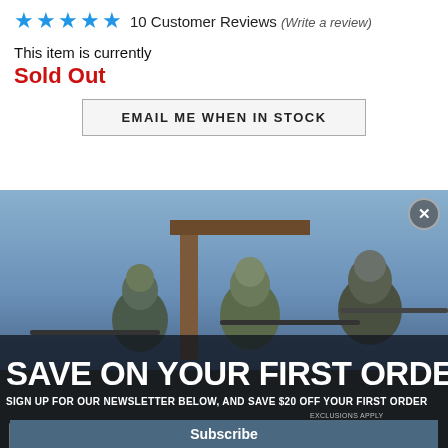10 Customer Reviews (Write a review)
This item is currently
Sold Out
EMAIL ME WHEN IN STOCK
[Figure (photo): Pop-up advertisement showing soldiers in tactical gear aiming rifles, with overlay text 'SAVE ON YOUR FIRST ORDER' and 'SIGN UP FOR OUR NEWSLETTER BELOW, AND SAVE $20 OFF YOUR FIRST ORDER. EXCLUSIONS APPLY.' An email input field and Subscribe button appear below.]